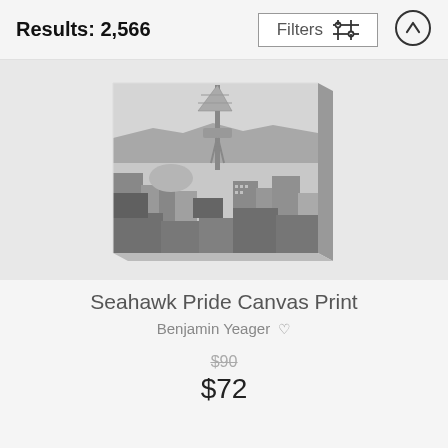Results: 2,566
[Figure (screenshot): Filters button with sliders icon and an up-arrow circle button in a top navigation bar]
[Figure (photo): Black and white photograph of Seattle skyline featuring the Space Needle, displayed as a canvas print with a 3D edge effect]
Seahawk Pride Canvas Print
Benjamin Yeager ♡
$90 (strikethrough)
$72